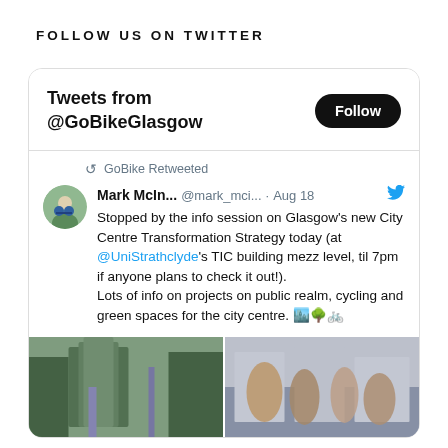FOLLOW US ON TWITTER
[Figure (screenshot): Twitter widget showing Tweets from @GoBikeGlasgow with a Follow button, a GoBike Retweeted retweet by Mark McIn... @mark_mci... Aug 18, with tweet text about Glasgow City Centre Transformation Strategy info session at @UniStrathclyde TIC building, and two photos at the bottom.]